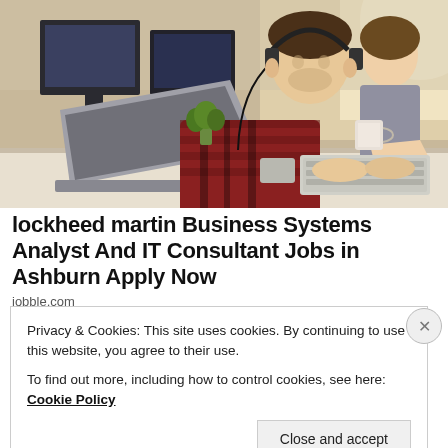[Figure (photo): Office scene with two people working at computers. A man in a red plaid shirt wearing headphones types on a keyboard in the foreground, while a woman in the background also works at a computer. Modern office setting with multiple monitors.]
lockheed martin Business Systems Analyst And IT Consultant Jobs in Ashburn Apply Now
jobble.com
Privacy & Cookies: This site uses cookies. By continuing to use this website, you agree to their use.
To find out more, including how to control cookies, see here: Cookie Policy
Close and accept